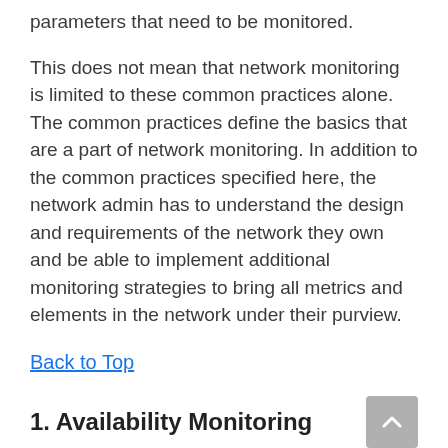parameters that need to be monitored.
This does not mean that network monitoring is limited to these common practices alone. The common practices define the basics that are a part of network monitoring. In addition to the common practices specified here, the network admin has to understand the design and requirements of the network they own and be able to implement additional monitoring strategies to bring all metrics and elements in the network under their purview.
Back to Top
1. Availability Monitoring
Availability monitoring defines the